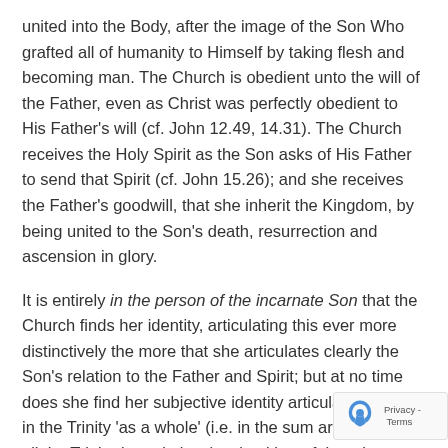united into the Body, after the image of the Son Who grafted all of humanity to Himself by taking flesh and becoming man. The Church is obedient unto the will of the Father, even as Christ was perfectly obedient to His Father's will (cf. John 12.49, 14.31). The Church receives the Holy Spirit as the Son asks of His Father to send that Spirit (cf. John 15.26); and she receives the Father's goodwill, that she inherit the Kingdom, by being united to the Son's death, resurrection and ascension in glory.
It is entirely in the person of the incarnate Son that the Church finds her identity, articulating this ever more distinctively the more that she articulates clearly the Son's relation to the Father and Spirit; but at no time does she find her subjective identity articulated either in the Trinity 'as a whole' (i.e. in the sum articulation of all the Trinitarian relations) or in either of the other Persons taken as the substance of her identity (as such, she is never the 'Body of the